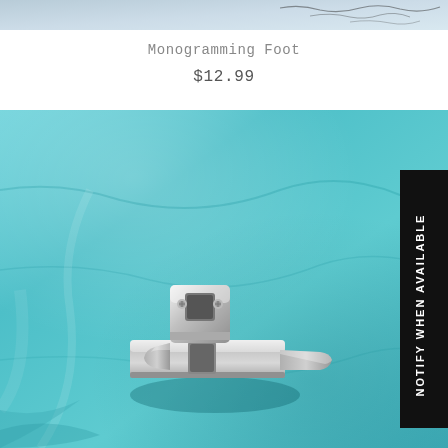[Figure (photo): Top portion of a product photo showing monogramming stitching on fabric, partially cropped]
Monogramming Foot
$12.99
[Figure (photo): Product photo of a silver metallic sewing machine monogramming foot placed on teal/turquoise fabric. A black vertical banner on the right reads 'NOTIFY WHEN AVAILABLE']